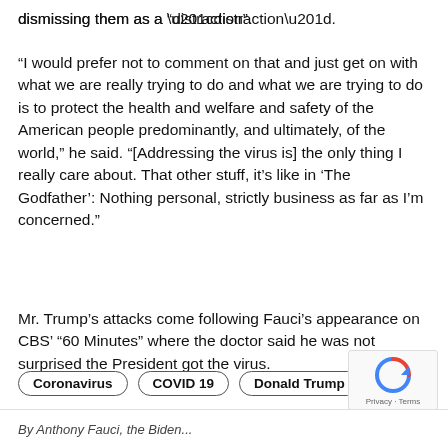dismissing them as a “distraction”.
“I would prefer not to comment on that and just get on with what we are really trying to do and what we are trying to do is to protect the health and welfare and safety of the American people predominantly, and ultimately, of the world,” he said. “[Addressing the virus is] the only thing I really care about. That other stuff, it’s like in ‘The Godfather’: Nothing personal, strictly business as far as I’m concerned.”
Mr. Trump’s attacks come following Fauci’s appearance on CBS’ “60 Minutes” where the doctor said he was not surprised the President got the virus.
Coronavirus   COVID 19   Donald Trump
Privacy · Terms